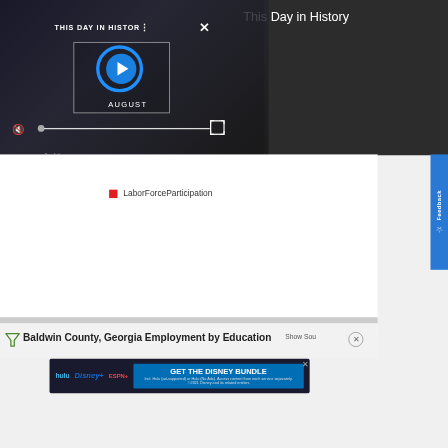[Figure (screenshot): Video player showing 'This Day in History' with play button, August label, mute icon, progress bar, and fullscreen button on dark background]
This Day in History
[Figure (infographic): Legend item showing red square with label 'LaborForceParticipation']
LaborForceParticipation
[Figure (screenshot): Feedback tab on right side with star icon]
Baldwin County, Georgia Employment by Education
Show Sou
[Figure (screenshot): Disney Bundle advertisement: hulu, Disney+, ESPN+ - GET THE DISNEY BUNDLE. Incl. Hulu (ad-supported) or Hulu (No Ads). Access content from each service separately. ©2021 Disney and its related entities]